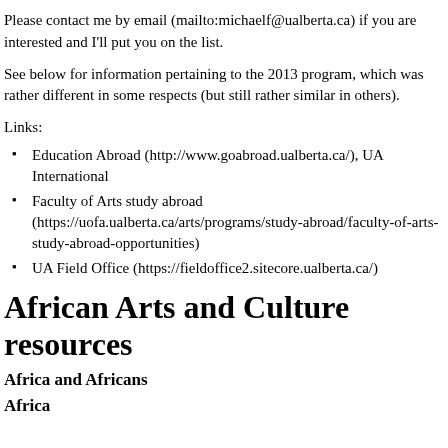Please contact me by email (mailto:michaelf@ualberta.ca) if you are interested and I'll put you on the list.
See below for information pertaining to the 2013 program, which was rather different in some respects (but still rather similar in others).
Links:
Education Abroad (http://www.goabroad.ualberta.ca/), UA International
Faculty of Arts study abroad (https://uofa.ualberta.ca/arts/programs/study-abroad/faculty-of-arts-study-abroad-opportunities)
UA Field Office (https://fieldoffice2.sitecore.ualberta.ca/)
African Arts and Culture resources
Africa and Africans
Africa